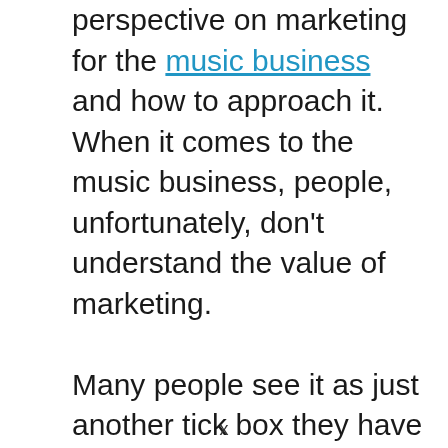perspective on marketing for the music business and how to approach it. When it comes to the music business, people, unfortunately, don't understand the value of marketing.

Many people see it as just another tick box they have to check as part of getting my business 'out there, and often outsource this function to a third person. I would caution that this is a huge mistake.

A business is deemed to fail if the
x